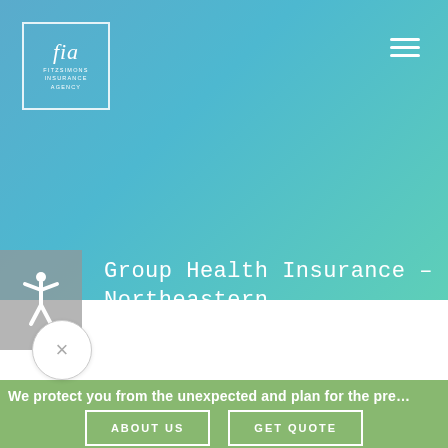[Figure (logo): Fitzsimons Insurance Agency logo in a white bordered box, cursive 'fia' lettering with FITZSIMONS INSURANCE AGENCY text below]
Group Health Insurance – Northeastern Pennsylvania
Heath plans for your business.
We protect you from the unexpected and plan for the pre
ABOUT US
GET QUOTE